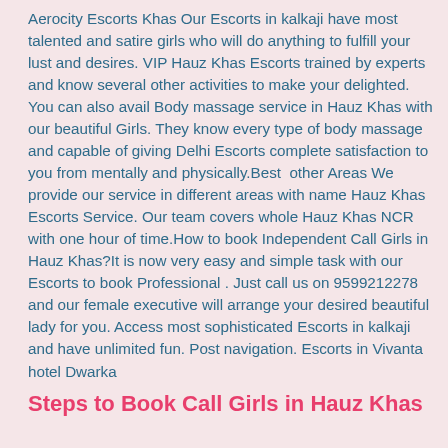Aerocity Escorts Khas Our Escorts in kalkaji have most talented and satire girls who will do anything to fulfill your lust and desires. VIP Hauz Khas Escorts trained by experts and know several other activities to make your delighted. You can also avail Body massage service in Hauz Khas with our beautiful Girls. They know every type of body massage and capable of giving Delhi Escorts complete satisfaction to you from mentally and physically.Best  other Areas We provide our service in different areas with name Hauz Khas Escorts Service. Our team covers whole Hauz Khas NCR with one hour of time.How to book Independent Call Girls in Hauz Khas?It is now very easy and simple task with our Escorts to book Professional . Just call us on 9599212278 and our female executive will arrange your desired beautiful lady for you. Access most sophisticated Escorts in kalkaji and have unlimited fun. Post navigation. Escorts in Vivanta hotel Dwarka
Steps to Book Call Girls in Hauz Khas